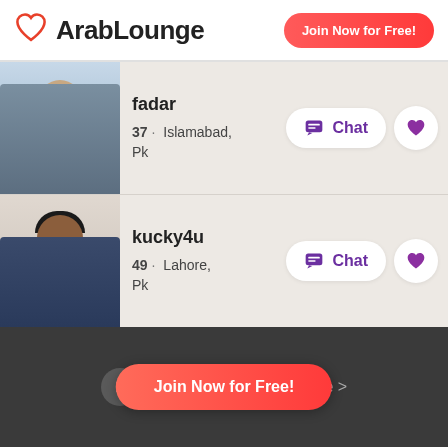[Figure (logo): ArabLounge logo with heart icon and text]
Join Now for Free!
[Figure (photo): Profile photo of fadar, man wearing sunglasses, 37, from Islamabad, Pk]
fadar
37 · Islamabad, Pk
Chat
[Figure (photo): Profile photo of kucky4u, man in suit, 49, from Lahore, Pk]
kucky4u
49 · Lahore, Pk
Chat
1  2  Join Now for Free!  more >